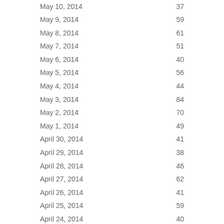| Date | Value |
| --- | --- |
| May 10, 2014 | 37 |
| May 9, 2014 | 59 |
| May 8, 2014 | 61 |
| May 7, 2014 | 51 |
| May 6, 2014 | 40 |
| May 5, 2014 | 56 |
| May 4, 2014 | 44 |
| May 3, 2014 | 84 |
| May 2, 2014 | 70 |
| May 1, 2014 | 49 |
| April 30, 2014 | 41 |
| April 29, 2014 | 38 |
| April 28, 2014 | 46 |
| April 27, 2014 | 62 |
| April 26, 2014 | 41 |
| April 25, 2014 | 59 |
| April 24, 2014 | 40 |
| April 23, 2014 | 53 |
| April 22, 2014 | 46 |
| April 21, 2014 | 58 |
| April 20, 2014 | 38 |
| April 19, 2014 | 57 |
| April 18, 2014 | 56 |
| April 17, 2014 | 34 |